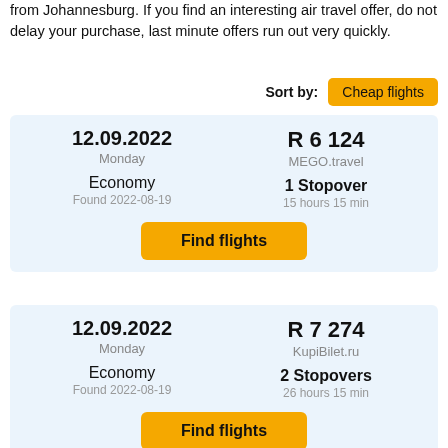from Johannesburg. If you find an interesting air travel offer, do not delay your purchase, last minute offers run out very quickly.
Sort by: Cheap flights
| Date | Price |
| --- | --- |
| 12.09.2022 Monday | R 6 124 MEGO.travel |
| Economy Found 2022-08-19 | 1 Stopover 15 hours 15 min |
Find flights
| Date | Price |
| --- | --- |
| 12.09.2022 Monday | R 7 274 KupiBilet.ru |
| Economy Found 2022-08-19 | 2 Stopovers 26 hours 15 min |
Find flights